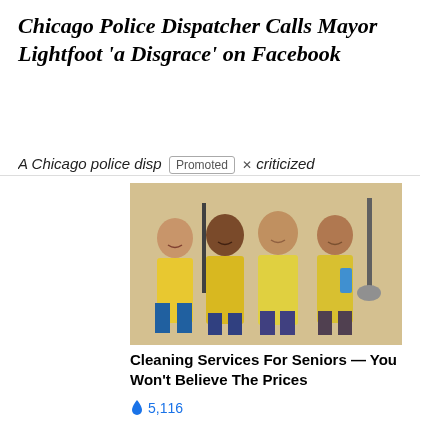Chicago Police Dispatcher Calls Mayor Lightfoot 'a Disgrace' on Facebook
A Chicago police disp [Promoted] × criticized
[Figure (photo): Four women in yellow uniforms holding cleaning equipment, smiling — cleaning service advertisement]
Cleaning Services For Seniors — You Won't Believe The Prices
🔥 5,116
[Figure (photo): Person touching chest/collar area with a hand showing a reddish tint — dementia warning signs advertisement]
4 Warning Signs Of Dementia (#2 Is Scary)
🔥 14,749